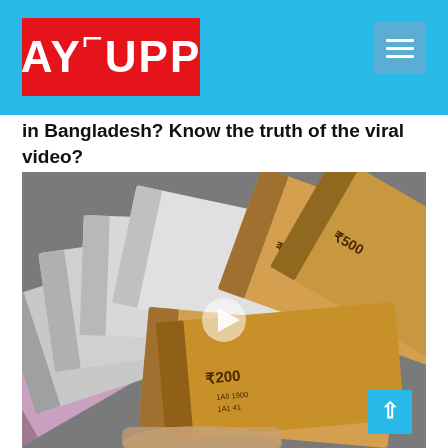AYUPP
in Bangladesh? Know the truth of the viral video?
[Figure (photo): A hand holding a fan of Indian currency notes including ₹200, ₹500 denominations, with a video play button overlay in the center.]